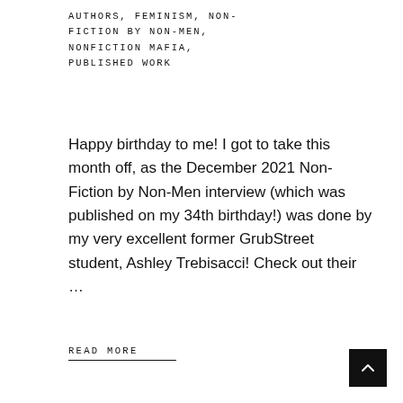AUTHORS, FEMINISM, NON-FICTION BY NON-MEN, NONFICTION MAFIA, PUBLISHED WORK
Happy birthday to me! I got to take this month off, as the December 2021 Non-Fiction by Non-Men interview (which was published on my 34th birthday!) was done by my very excellent former GrubStreet student, Ashley Trebisacci! Check out their …
READ MORE